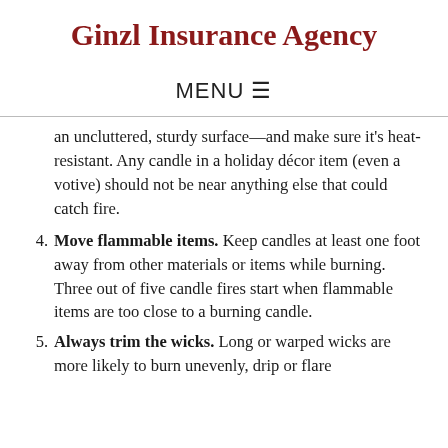Ginzl Insurance Agency
MENU ☰
an uncluttered, sturdy surface—and make sure it's heat-resistant. Any candle in a holiday décor item (even a votive) should not be near anything else that could catch fire.
4. Move flammable items. Keep candles at least one foot away from other materials or items while burning. Three out of five candle fires start when flammable items are too close to a burning candle.
5. Always trim the wicks. Long or warped wicks are more likely to burn unevenly, drip or flare